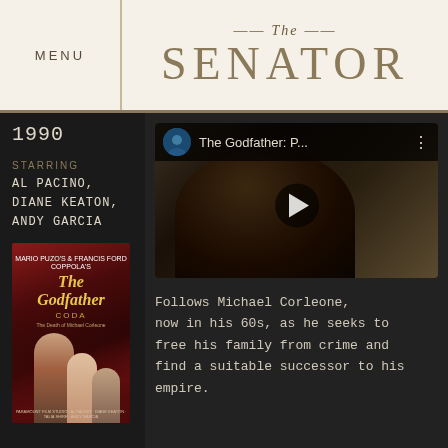MENU
The SENATOR
1990
STARRING
AL PACINO,
DIANE KEATON,
ANDY GARCIA
[Figure (photo): The Godfather Part III / Coda movie poster with red and dark tones, showing main cast figures]
[Figure (screenshot): YouTube video thumbnail for The Godfather: P... showing a dark scene with a man in a suit, with play button overlay]
Follows Michael Corleone, now in his 60s, as he seeks to free his family from crime and find a suitable successor to his empire.